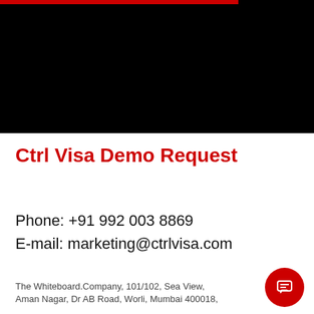[Figure (other): Black header banner with a red horizontal bar at the top left]
Ctrl Visa Demo Request
Phone: +91 992 003 8869
E-mail: marketing@ctrlvisa.com
The Whiteboard.Company, 101/102, Sea View, Aman Nagar, Dr AB Road, Worli, Mumbai 400018,